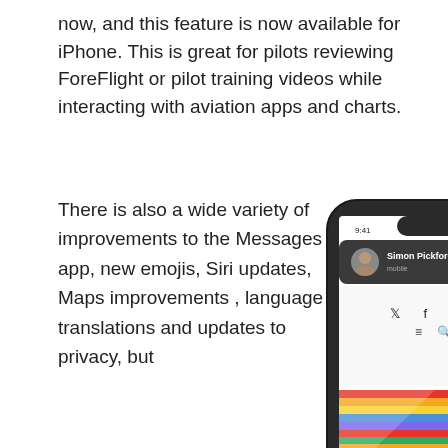now, and this feature is now available for iPhone. This is great for pilots reviewing ForeFlight or pilot training videos while interacting with aviation apps and charts.
There is also a wide variety of improvements to the Messages app, new emojis, Siri updates, Maps improvements , language translations and updates to privacy, but
[Figure (photo): iPhone X displaying a website with a FaceTime/call notification banner from 'Simon Pickford' at top, social media icons in the middle, and colorful fashion/art images below.]